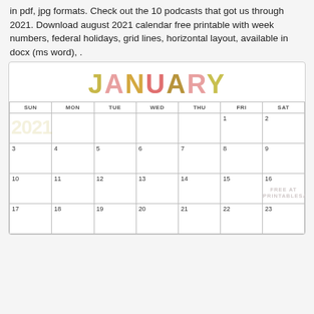in pdf, jpg formats. Check out the 10 podcasts that got us through 2021. Download august 2021 calendar free printable with week numbers, federal holidays, grid lines, horizontal layout, available in docx (ms word), .
[Figure (other): January 2021 printable calendar with colorful JANUARY title text and grid layout showing days SUN through SAT. Dates visible: 1-23. Watermark: FREE AT PRINTABLESANDINSPIRATIONS.COM. Year 2021 watermark in background of first week row.]